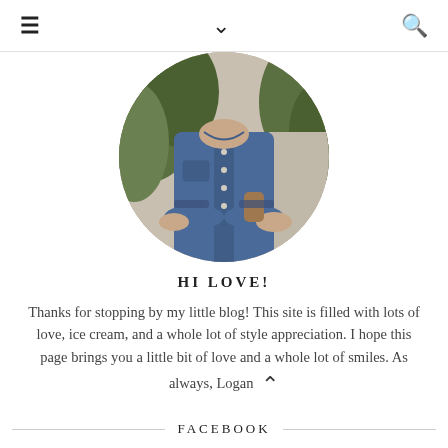≡   ˅   🔍
[Figure (photo): Circular cropped photo of a person wearing a denim shirt with arms crossed, green foliage in background]
HI LOVE!
Thanks for stopping by my little blog! This site is filled with lots of love, ice cream, and a whole lot of style appreciation. I hope this page brings you a little bit of love and a whole lot of smiles. As always, Logan
FACEBOOK